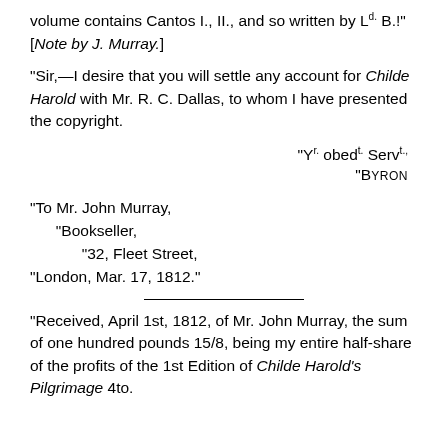volume contains Cantos I., II., and so written by Ld. B.!" [Note by J. Murray.]
"Sir,—I desire that you will settle any account for Childe Harold with Mr. R. C. Dallas, to whom I have presented the copyright.
"Yr. obedt. Servt.,
"Byron
"To Mr. John Murray,
	"Bookseller,
		"32, Fleet Street,
"London, Mar. 17, 1812."
"Received, April 1st, 1812, of Mr. John Murray, the sum of one hundred pounds 15/8, being my entire half-share of the profits of the 1st Edition of Childe Harold's Pilgrimage 4to.